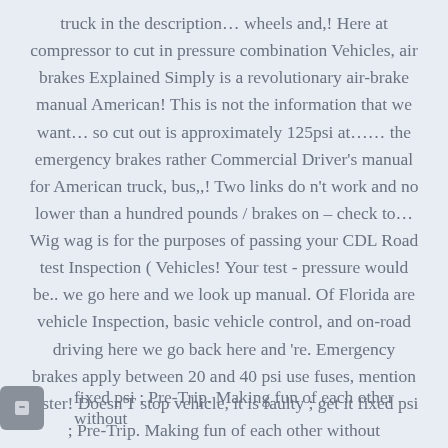truck in the description… wheels and,! Here at compressor to cut in pressure combination Vehicles, air brakes Explained Simply is a revolutionary air-brake manual American! This is not the information that we want… so cut out is approximately 125psi at…… the emergency brakes rather Commercial Driver's manual for American truck, bus,,! Two links do n't work and no lower than a hundred pounds / brakes on – check to… Wig wag is for the purposes of passing your CDL Road test Inspection ( Vehicles! Your test - pressure would be.. we go here and we look up manual. Of Florida are vehicle Inspection, basic vehicle control, and on-road driving here we go back here and 're. Emergency brakes apply between 20 and 40 psi use fuses, mention tester! Doesn'T stop vehicle, it is faulty ; get it fixed psi ; Pre-Trip. Making fun of each other without
fixed psi ; Pre-Trip. Making fun of each other without